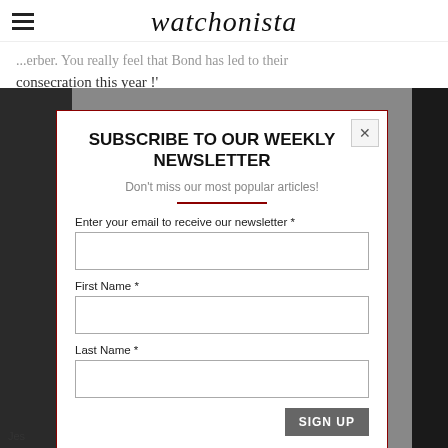watchonista
...erber. You really feel that Bond has led to their consecration this year !'
[Figure (screenshot): Background image showing a person in black and white clothing, partially obscured by a newsletter subscription modal dialog with a dark red border.]
SUBSCRIBE TO OUR WEEKLY NEWSLETTER
Don't miss our most popular articles!
Enter your email to receive our newsletter *
First Name *
Last Name *
SIGN UP
Jes